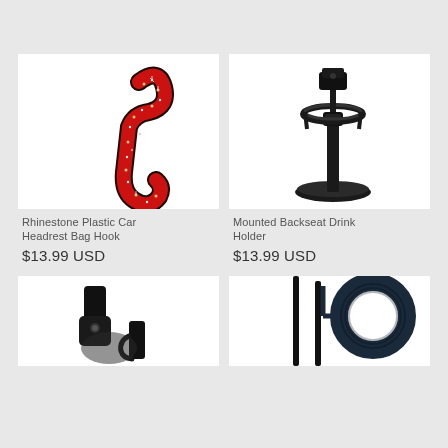[Figure (photo): Rhinestone-covered red and black plastic car headrest bag hook]
Rhinestone Plastic Car Headrest Bag Hook
$13.99 USD
[Figure (photo): Black mounted backseat drink holder with adjustable arm and circular base]
Mounted Backseat Drink Holder
$13.99 USD
[Figure (photo): Black metal car hook accessory, partially visible]
[Figure (photo): Black telescoping poles and coiled dark blue cable/cord, partially visible]